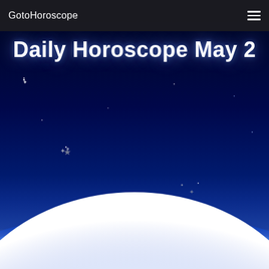GotoHoroscope
[Figure (illustration): Space/night sky background with dark navy blue gradient, scattered white and gray stars of various sizes, and a large white glowing globe/planet rising from the bottom of the image with a blue atmospheric glow along its horizon edge]
Daily Horoscope May 2